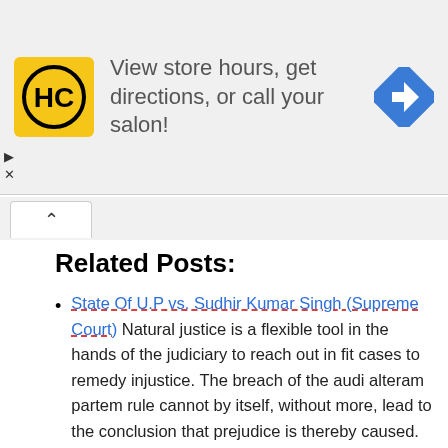[Figure (screenshot): Advertisement banner for a salon business (HC logo) with text 'View store hours, get directions, or call your salon!' and a blue navigation arrow icon.]
Related Posts:
State Of U.P vs. Sudhir Kumar Singh (Supreme Court) Natural justice is a flexible tool in the hands of the judiciary to reach out in fit cases to remedy injustice. The breach of the audi alteram partem rule cannot by itself, without more, lead to the conclusion that prejudice is thereby caused. Where procedural and/or substantive provisions of law…
Rajasthan State Electricity Board vs. DCIT (Supreme Court) Taking a cue from Varghese case, we therefore, hold that Section 143(1-A)